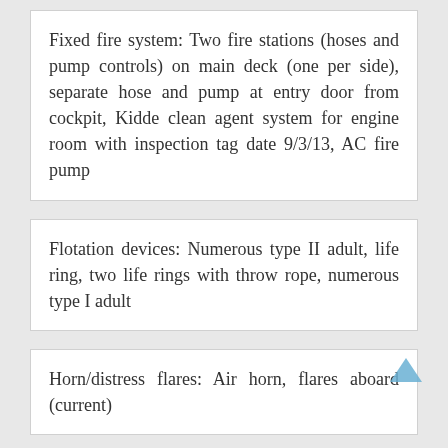Fixed fire system: Two fire stations (hoses and pump controls) on main deck (one per side), separate hose and pump at entry door from cockpit, Kidde clean agent system for engine room with inspection tag date 9/3/13, AC fire pump
Flotation devices: Numerous type II adult, life ring, two life rings with throw rope, numerous type I adult
Horn/distress flares: Air horn, flares aboard (current)
Navigational/anchor lights: Separate sidelights, steaming, masthead / steaming,